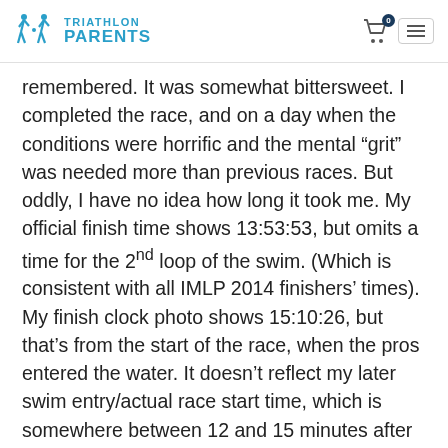TRIATHLON PARENTS
remembered. It was somewhat bittersweet. I completed the race, and on a day when the conditions were horrific and the mental “grit” was needed more than previous races. But oddly, I have no idea how long it took me. My official finish time shows 13:53:53, but omits a time for the 2nd loop of the swim. (Which is consistent with all IMLP 2014 finishers’ times). My finish clock photo shows 15:10:26, but that’s from the start of the race, when the pros entered the water. It doesn’t reflect my later swim entry/actual race start time, which is somewhere between 12 and 15 minutes after the Pros.